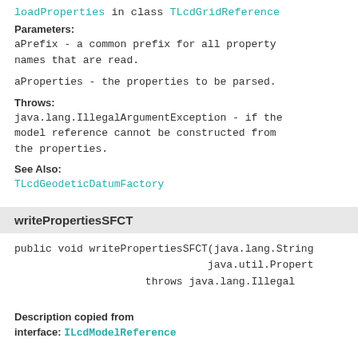loadProperties in class TLcdGridReference
Parameters:
aPrefix - a common prefix for all property names that are read.
aProperties - the properties to be parsed.
Throws:
java.lang.IllegalArgumentException - if the model reference cannot be constructed from the properties.
See Also:
TLcdGeodeticDatumFactory
writePropertiesSFCT
public void writePropertiesSFCT(java.lang.String
                               java.util.Propert
                    throws java.lang.Illegal
Description copied from
interface: ILcdModelReference